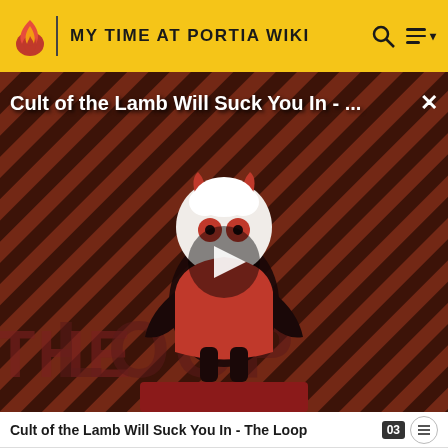MY TIME AT PORTIA WIKI
[Figure (screenshot): Video thumbnail/player for 'Cult of the Lamb Will Suck You In - The Loop' showing an animated lamb character on a red striped background with THE LOOP branding and a play button overlay]
Cult of the Lamb Will Suck You In - The Loop
| Llama |  |  |
| --- | --- | --- |
| Cotton Llama | Advanced Trap Box | 2 Apple
2 Aroma Apple
1 Golden |